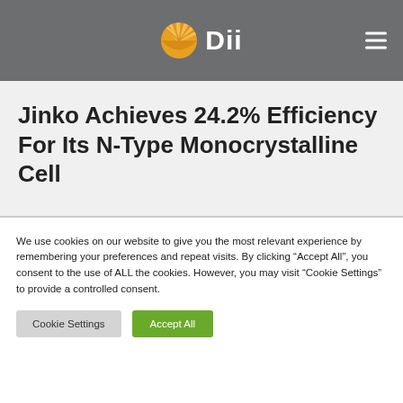Dii
Jinko Achieves 24.2% Efficiency For Its N-Type Monocrystalline Cell
We use cookies on our website to give you the most relevant experience by remembering your preferences and repeat visits. By clicking “Accept All”, you consent to the use of ALL the cookies. However, you may visit “Cookie Settings” to provide a controlled consent.
Cookie Settings | Accept All